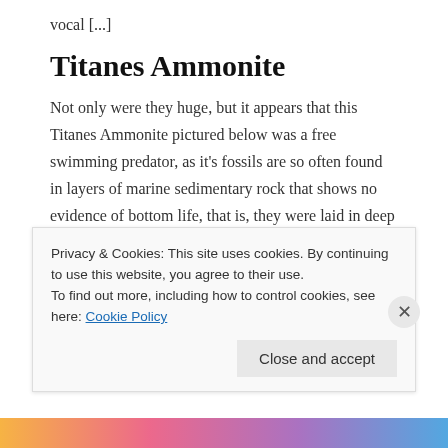vocal [...]
Titanes Ammonite
Not only were they huge, but it appears that this Titanes Ammonite pictured below was a free swimming predator, as it's fossils are so often found in layers of marine sedimentary rock that shows no evidence of bottom life, that is, they were laid in deep water. So like squid, which are also mollusks, they [...]
My latest writing at: Brick's Brain
Privacy & Cookies: This site uses cookies. By continuing to use this website, you agree to their use.
To find out more, including how to control cookies, see here: Cookie Policy